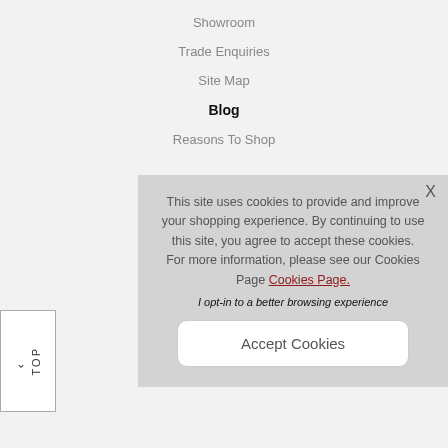Showroom
Trade Enquiries
Site Map
Blog
Reasons To Shop
This site uses cookies to provide and improve your shopping experience. By continuing to use this site, you agree to accept these cookies. For more information, please see our Cookies Page Cookies Page.
I opt-in to a better browsing experience
Accept Cookies